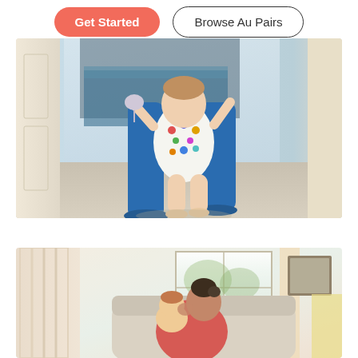Get Started
Browse Au Pairs
[Figure (photo): A toddler in a colorful heart-print onesie taking steps, assisted by an adult in blue pants, photographed from a low angle in a bright room]
[Figure (photo): A woman with dark hair in a bun kissing a baby in a warm, softly lit nursery room with a crib and curtains]